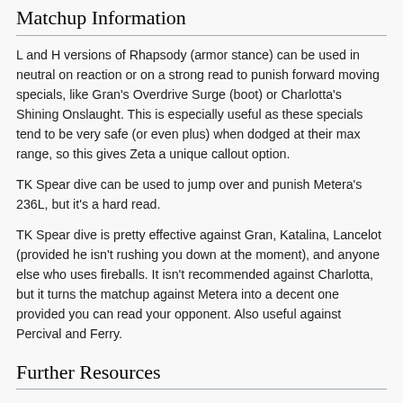Matchup Information
L and H versions of Rhapsody (armor stance) can be used in neutral on reaction or on a strong read to punish forward moving specials, like Gran's Overdrive Surge (boot) or Charlotta's Shining Onslaught. This is especially useful as these specials tend to be very safe (or even plus) when dodged at their max range, so this gives Zeta a unique callout option.
TK Spear dive can be used to jump over and punish Metera's 236L, but it's a hard read.
TK Spear dive is pretty effective against Gran, Katalina, Lancelot (provided he isn't rushing you down at the moment), and anyone else who uses fireballs. It isn't recommended against Charlotta, but it turns the matchup against Metera into a decent one provided you can read your opponent. Also useful against Percival and Ferry.
Further Resources
Navigation